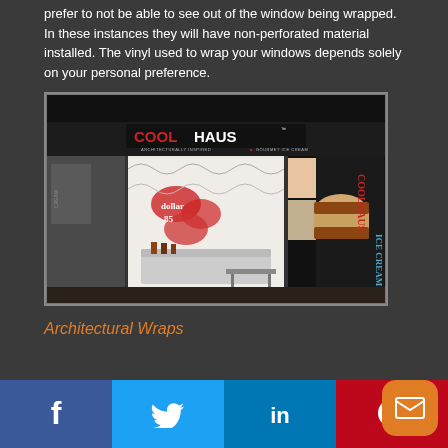prefer to not be able to see out of the window being wrapped. In these instances they will have non-perforated material installed. The vinyl used to wrap your windows depends solely on your personal preference.
[Figure (photo): Exterior view of a Coolhaus ice cream store front with large window wraps showing colorful ice cream sandwich graphics and branding. The store has a black facade with the COOLHAUS logo and tagline 'Architecturally Inspired Gourmet Ice Cream'.]
Architectural Wraps